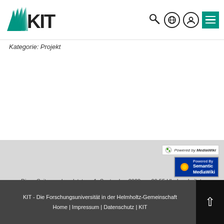[Figure (logo): KIT logo with green fan/wedge and bold KIT text]
Navigation icons: search, globe, user, menu
Kategorie: Projekt
[Figure (logo): Powered by MediaWiki badge]
[Figure (logo): Powered By Semantic MediaWiki badge]
Diese Seite wurde zuletzt am 1. September 2022 um 09:55 Uhr bearbeitet.
KIT - Die Forschungsuniversität in der Helmholtz-Gemeinschaft
Home | Impressum | Datenschutz | KIT